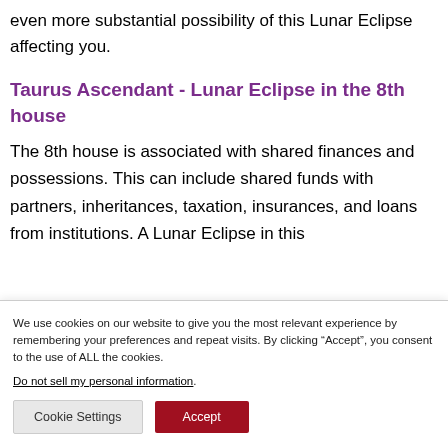even more substantial possibility of this Lunar Eclipse affecting you.
Taurus Ascendant - Lunar Eclipse in the 8th house
The 8th house is associated with shared finances and possessions. This can include shared funds with partners, inheritances, taxation, insurances, and loans from institutions. A Lunar Eclipse in this
We use cookies on our website to give you the most relevant experience by remembering your preferences and repeat visits. By clicking “Accept”, you consent to the use of ALL the cookies.
Do not sell my personal information.
Cookie Settings | Accept